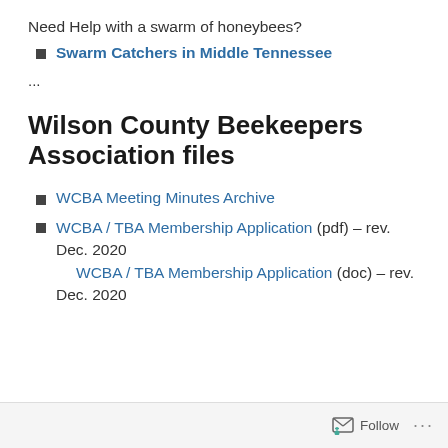Need Help with a swarm of honeybees?
Swarm Catchers in Middle Tennessee
...
Wilson County Beekeepers Association files
WCBA Meeting Minutes Archive
WCBA / TBA Membership Application (pdf) – rev. Dec. 2020
WCBA / TBA Membership Application (doc) – rev. Dec. 2020
Follow ...